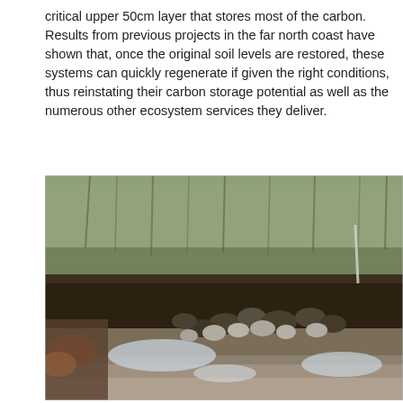critical upper 50cm layer that stores most of the carbon. Results from previous projects in the far north coast have shown that, once the original soil levels are restored, these systems can quickly regenerate if given the right conditions, thus reinstating their carbon storage potential as well as the numerous other ecosystem services they deliver.
[Figure (photo): Photograph of a degraded coastal wetland or saltmarsh area showing dark peaty soil clumps, scattered rocks, shallow water puddles, and dry brown grass vegetation in the background.]